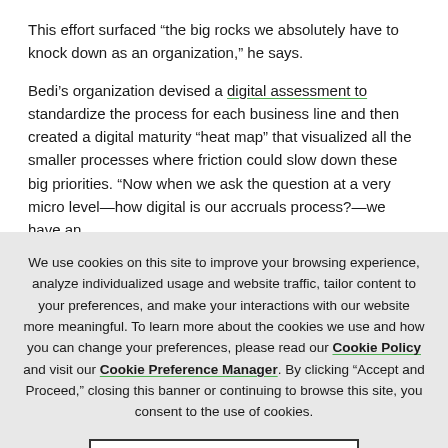This effort surfaced “the big rocks we absolutely have to knock down as an organization,” he says.
Bedi’s organization devised a digital assessment to standardize the process for each business line and then created a digital maturity “heat map” that visualized all the smaller processes where friction could slow down these big priorities. “Now when we ask the question at a very micro level—how digital is our accruals process?—we have an
We use cookies on this site to improve your browsing experience, analyze individualized usage and website traffic, tailor content to your preferences, and make your interactions with our website more meaningful. To learn more about the cookies we use and how you can change your preferences, please read our Cookie Policy and visit our Cookie Preference Manager. By clicking “Accept and Proceed,” closing this banner or continuing to browse this site, you consent to the use of cookies.
Accept and Proceed